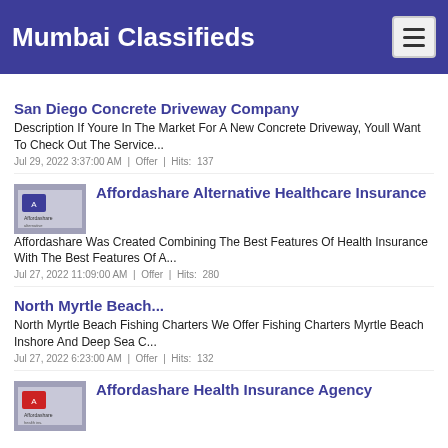Mumbai Classifieds
San Diego Concrete Driveway Company
Description If Youre In The Market For A New Concrete Driveway, Youll Want To Check Out The Service...
Jul 29, 2022 3:37:00 AM | Offer | Hits: 137
[Figure (logo): Affordashare logo thumbnail]
Affordashare Alternative Healthcare Insurance
Affordashare Was Created Combining The Best Features Of Health Insurance With The Best Features Of A...
Jul 27, 2022 11:09:00 AM | Offer | Hits: 280
North Myrtle Beach...
North Myrtle Beach Fishing Charters We Offer Fishing Charters Myrtle Beach Inshore And Deep Sea C...
Jul 27, 2022 6:23:00 AM | Offer | Hits: 132
[Figure (logo): Affordashare Health Insurance Agency logo thumbnail]
Affordashare Health Insurance Agency